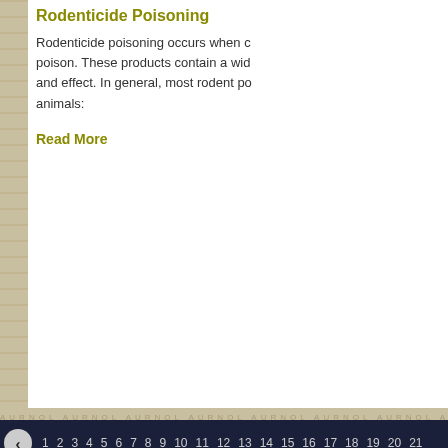Rodenticide Poisoning
Rodenticide poisoning occurs when c... poison. These products contain a wid... and effect. In general, most rodent po... animals:
Read More
[Figure (other): Pagination bar with dark navy background showing page numbers 1-21 on top row and 34-48 on bottom row, with previous and next arrow buttons]
Our Practice | Services | Our Staff | Care Guides | Contact Us | Mo... Shop Online Pharmacy
Copyright © 2022 All rights reserved.